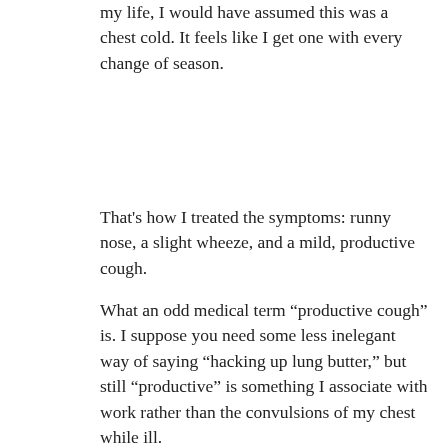my life, I would have assumed this was a chest cold. It feels like I get one with every change of season.
That's how I treated the symptoms: runny nose, a slight wheeze, and a mild, productive cough.
What an odd medical term “productive cough” is. I suppose you need some less inelegant way of saying “hacking up lung butter,” but still “productive” is something I associate with work rather than the convulsions of my chest while ill.
Anyway, Mom 2.0, the kindly east Des Moines hairdresser who raised me after my parents died, suggested I get a test. My Uncle Jim recently endured a breakthrough COVID infection.